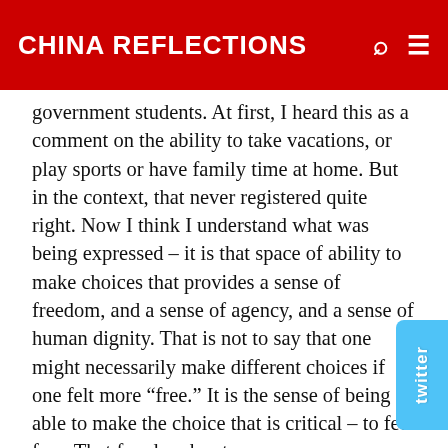CHINA REFLECTIONS
government students. At first, I heard this as a comment on the ability to take vacations, or play sports or have family time at home. But in the context, that never registered quite right. Now I think I understand what was being expressed – it is that space of ability to make choices that provides a sense of freedom, and a sense of agency, and a sense of human dignity. That is not to say that one might necessarily make different choices if one felt more “free.” It is the sense of being able to make the choice that is critical – to feel free. That freedom has two consequences.
First, it provides a personal confidence in decision-making. That, too, is seen by Chinese as an American characteristic. Yet overconfidence